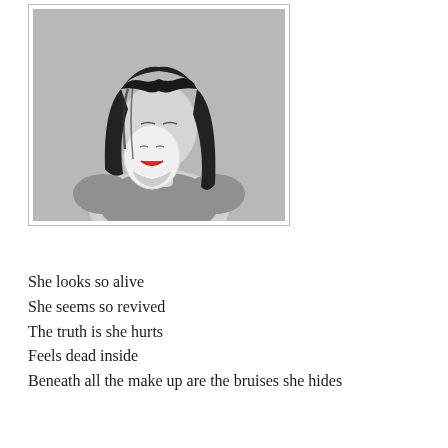[Figure (illustration): Black and white illustration/photo of a dark-haired woman holding a white theatrical mask in front of her face. The mask has red lips. The woman is looking downward. Background is a grey textured surface.]
She looks so alive
She seems so revived
The truth is she hurts
Feels dead inside
Beneath all the make up are the bruises she hides